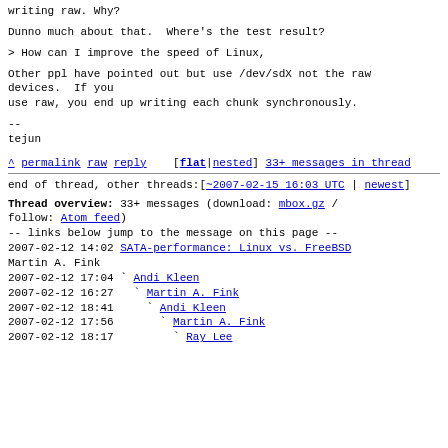writing raw. Why?
Dunno much about that.  Where's the test result?
> How can I improve the speed of Linux,
Other ppl have pointed out but use /dev/sdX not the raw
devices.  If you
use raw, you end up writing each chunk synchronously.
--
tejun
^ permalink  raw  reply    [flat|nested]  33+ messages in thread
end of thread, other threads:[~2007-02-15 16:03 UTC | newest]
Thread overview: 33+ messages (download: mbox.gz / follow: Atom feed)
-- links below jump to the message on this page --
2007-02-12 14:02  SATA-performance: Linux vs. FreeBSD
Martin A. Fink
2007-02-12 17:04 ` Andi Kleen
2007-02-12 16:27   ` Martin A. Fink
2007-02-12 18:41     ` Andi Kleen
2007-02-12 17:56       ` Martin A. Fink
2007-02-12 18:17         ` Ray Lee